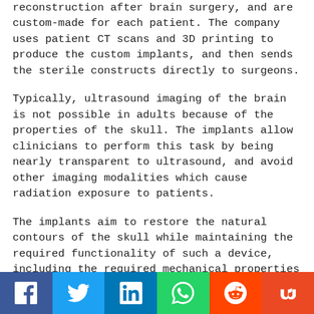reconstruction after brain surgery, and are custom-made for each patient. The company uses patient CT scans and 3D printing to produce the custom implants, and then sends the sterile constructs directly to surgeons.
Typically, ultrasound imaging of the brain is not possible in adults because of the properties of the skull. The implants allow clinicians to perform this task by being nearly transparent to ultrasound, and avoid other imaging modalities which cause radiation exposure to patients.
The implants aim to restore the natural contours of the skull while maintaining the required functionality of such a device, including the required mechanical properties
[Figure (other): Social sharing bar with icons for Facebook, Twitter, LinkedIn, WhatsApp, Reddit, and StumbleUpon]